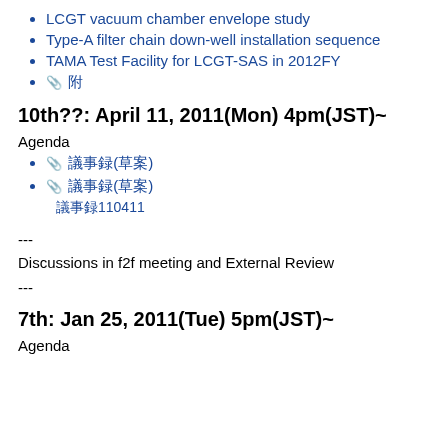LCGT vacuum chamber envelope study
Type-A filter chain down-well installation sequence
TAMA Test Facility for LCGT-SAS in 2012FY
📎 (attachment icon with Japanese text)
10th??: April 11, 2011(Mon) 4pm(JST)~
Agenda
📎 (Japanese text attachment)(Japanese text)
📎 (Japanese text attachment)(Japanese text)
(Japanese text)110411
---
Discussions in f2f meeting and External Review
---
7th: Jan 25, 2011(Tue) 5pm(JST)~
Agenda